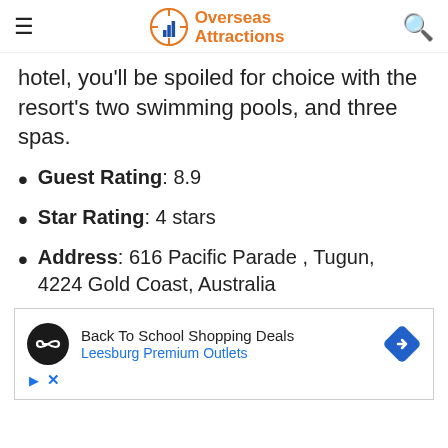Overseas Attractions
hotel, you'll be spoiled for choice with the resort's two swimming pools, and three spas.
Guest Rating: 8.9
Star Rating: 4 stars
Address: 616 Pacific Parade , Tugun, 4224 Gold Coast, Australia
[Figure (infographic): Advertisement banner: Back To School Shopping Deals – Leesburg Premium Outlets, with a circular logo and blue diamond navigation icon.]